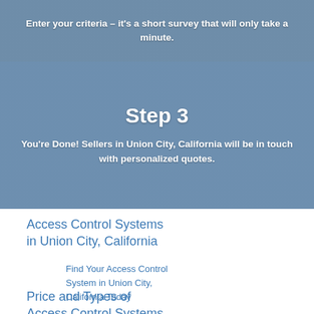Enter your criteria – it's a short survey that will only take a minute.
Step 3
You're Done! Sellers in Union City, California will be in touch with personalized quotes.
Access Control Systems in Union City, California
Find Your Access Control System in Union City, California Today
Price and Types of Access Control Systems in Union City, California
Mandatory Access Control